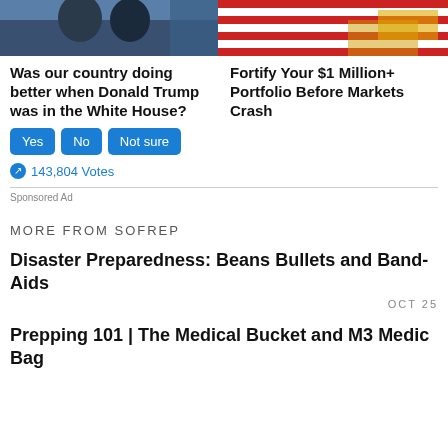[Figure (photo): Left: Two people in dark clothing, American flag in background. Right: Red, white and gold decorative pattern.]
Was our country doing better when Donald Trump was in the White House?
Yes  No  Not sure
143,804 Votes
Fortify Your $1 Million+ Portfolio Before Markets Crash
Sponsored Ad
MORE FROM SOFREP
Disaster Preparedness: Beans Bullets and Band-Aids
OCT 25
Prepping 101 | The Medical Bucket and M3 Medic Bag